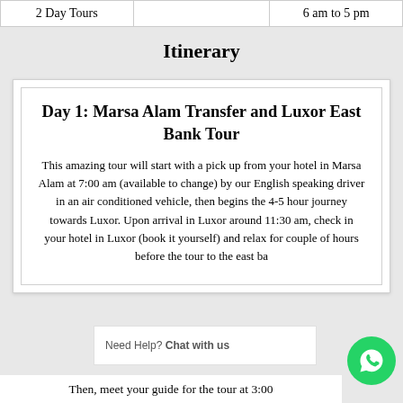| 2 Day Tours |  | 6 am to 5 pm |
| --- | --- | --- |
| 2 Day Tours |  | 6 am to 5 pm |
Itinerary
Day 1: Marsa Alam Transfer and Luxor East Bank Tour
This amazing tour will start with a pick up from your hotel in Marsa Alam at 7:00 am (available to change) by our English speaking driver in an air conditioned vehicle, then begins the 4-5 hour journey towards Luxor. Upon arrival in Luxor around 11:30 am, check in your hotel in Luxor (book it yourself) and relax for couple of hours before the tour to the east ba...
Then, meet your guide for the tour at 3:00